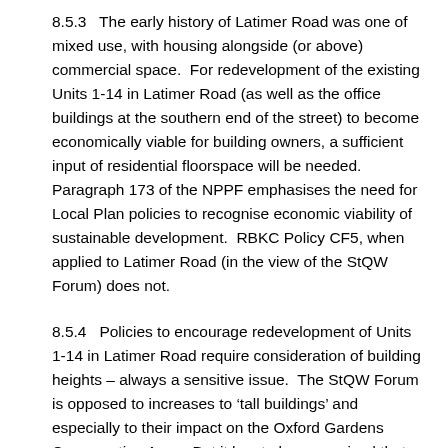8.5.3   The early history of Latimer Road was one of mixed use, with housing alongside (or above) commercial space.  For redevelopment of the existing Units 1-14 in Latimer Road (as well as the office buildings at the southern end of the street) to become economically viable for building owners, a sufficient input of residential floorspace will be needed. Paragraph 173 of the NPPF emphasises the need for Local Plan policies to recognise economic viability of sustainable development.  RBKC Policy CF5, when applied to Latimer Road (in the view of the StQW Forum) does not.
8.5.4   Policies to encourage redevelopment of Units 1-14 in Latimer Road require consideration of building heights – always a sensitive issue.  The StQW Forum is opposed to increases to 'tall buildings' and especially to their impact on the Oxford Gardens Conservation Area.  But it has to be recognised that the existing office buildings, and a number of the light industrial units on the west side of Latimer Road, will be backing onto Imperial West buildings of 12-16 storeys under construction in